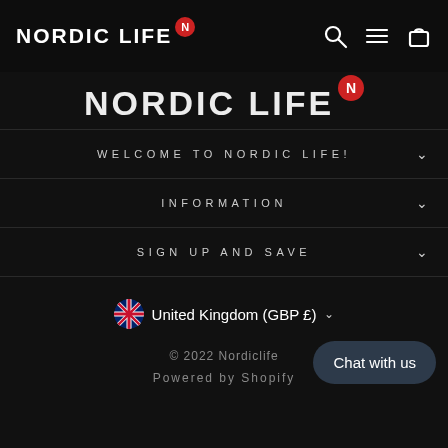NORDIC LIFE N
[Figure (logo): Nordic Life logo centered, large white distressed text with red N badge]
WELCOME TO NORDIC LIFE!
INFORMATION
SIGN UP AND SAVE
United Kingdom (GBP £)
© 2022 Nordiclife
Powered by Shopify
Chat with us